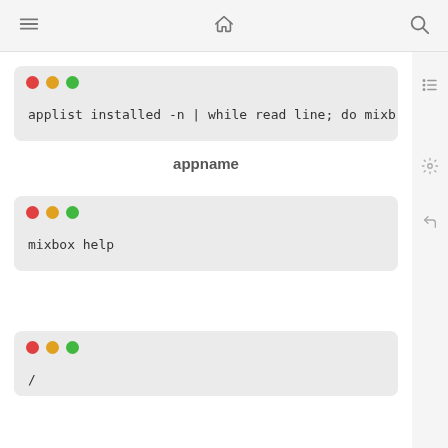Navigation bar with menu, home, and search icons
[Figure (screenshot): Terminal window card with macOS-style traffic light dots and command: applist installed -n | while read line; do mixb]
appname
[Figure (screenshot): Terminal window card with macOS-style traffic light dots and command: mixbox help]
[Figure (screenshot): Partial terminal window card with macOS-style traffic light dots and a slash character visible]